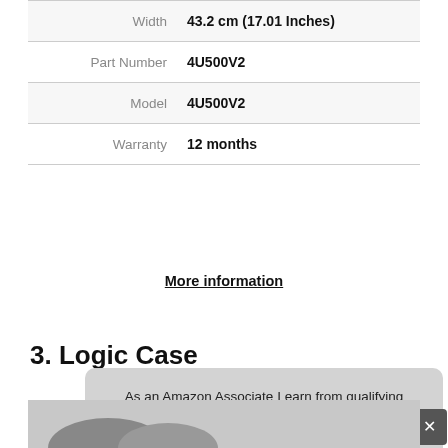| Attribute | Value |
| --- | --- |
| Width | 43.2 cm (17.01 Inches) |
| Part Number | 4U500V2 |
| Model | 4U500V2 |
| Warranty | 12 months |
More information
3. Logic Case
As an Amazon Associate I earn from qualifying purchases. This website uses the only necessary cookies to ensure you get the best experience on our website. More information